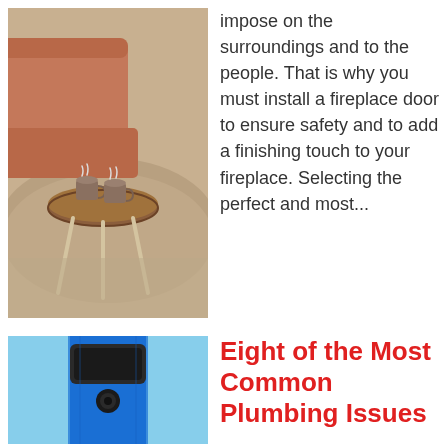[Figure (photo): Cozy living room scene with a small round wooden table with white legs holding two mugs with hot drinks, set on a fluffy rug near a sofa]
impose on the surroundings and to the people. That is why you must install a fireplace door to ensure safety and to add a finishing touch to your fireplace. Selecting the perfect and most...
[Figure (photo): Close-up of a blue buckle/clasp strap on a light blue background, likely a safety harness or equipment strap]
Eight of the Most Common Plumbing Issues